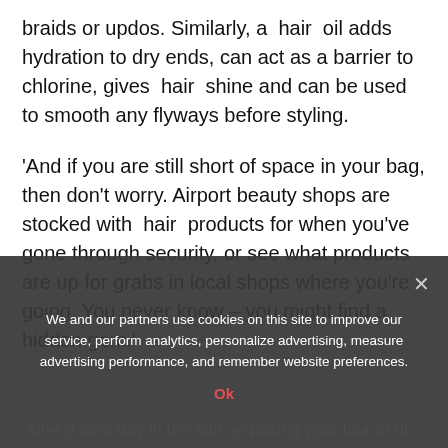braids or updos. Similarly, a hair oil adds hydration to dry ends, can act as a barrier to chlorine, gives hair shine and can be used to smooth any flyways before styling.
'And if you are still short of space in your bag, then don't worry. Airport beauty shops are stocked with hair products for when you've gone through security, or see what products are up for grabs in local shops where you're going. You never know – you might find a hidden gem.'
We and our partners use cookies on this site to improve our service, perform analytics, personalize advertising, measure advertising performance, and remember website preferences.
Ok
After a long day in the sun, exposing your hair to di